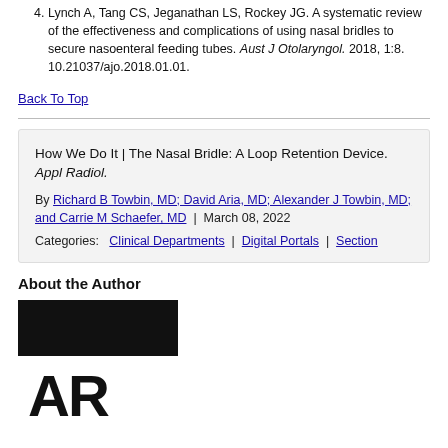4. Lynch A, Tang CS, Jeganathan LS, Rockey JG. A systematic review of the effectiveness and complications of using nasal bridles to secure nasoenteral feeding tubes. Aust J Otolaryngol. 2018, 1:8. 10.21037/ajo.2018.01.01.
Back To Top
How We Do It | The Nasal Bridle: A Loop Retention Device. Appl Radiol.
By Richard B Towbin, MD; David Aria, MD; Alexander J Towbin, MD; and Carrie M Schaefer, MD | March 08, 2022
Categories: Clinical Departments | Digital Portals | Section
About the Author
[Figure (logo): Applied Radiology logo — black bar above large black AR letters on white background]